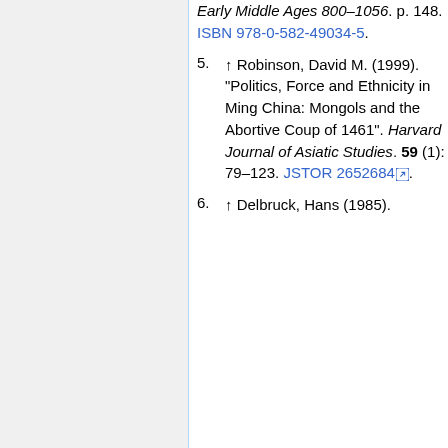(continuation) Early Middle Ages 800–1056. p. 148. ISBN 978-0-582-49034-5.
5. ↑ Robinson, David M. (1999). "Politics, Force and Ethnicity in Ming China: Mongols and the Abortive Coup of 1461". Harvard Journal of Asiatic Studies. 59 (1): 79–123. JSTOR 2652684.
6. ↑ Delbruck, Hans (1985).